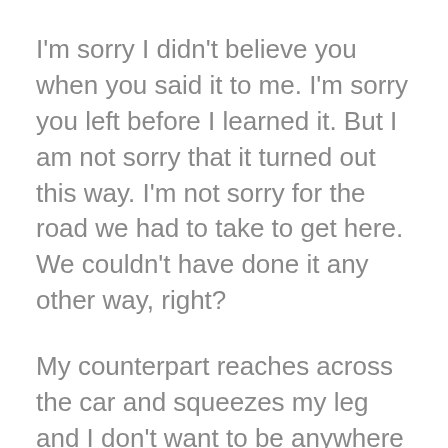I'm sorry I didn't believe you when you said it to me. I'm sorry you left before I learned it. But I am not sorry that it turned out this way. I'm not sorry for the road we had to take to get here. We couldn't have done it any other way, right?
My counterpart reaches across the car and squeezes my leg and I don't want to be anywhere else. I don't want to be anyone else. I just want to drive with him and be exactly who I am.
At the stoplight he leans over to kiss me. He whispers he loves me while hovering a